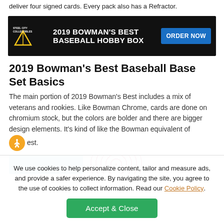deliver four signed cards. Every pack also has a Refractor.
[Figure (advertisement): Steel City Collectibles banner ad for 2019 Bowman's Best Baseball Hobby Box with ORDER NOW button]
2019 Bowman's Best Baseball Base Set Basics
The main portion of 2019 Bowman's Best includes a mix of veterans and rookies. Like Bowman Chrome, cards are done on chromium stock, but the colors are bolder and there are bigger design elements. It's kind of like the Bowman equivalent of est.
[Figure (photo): Partial image of baseball cards showing colorful chromium stock]
We use cookies to help personalize content, tailor and measure ads, and provide a safer experience. By navigating the site, you agree to the use of cookies to collect information. Read our Cookie Policy.
Accept & Close